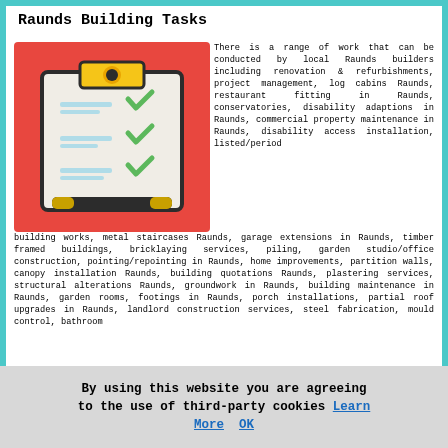Raunds Building Tasks
[Figure (illustration): Clipboard with checklist and checkmarks on a red background with a pen]
There is a range of work that can be conducted by local Raunds builders including renovation & refurbishments, project management, log cabins Raunds, restaurant fitting in Raunds, conservatories, disability adaptions in Raunds, commercial property maintenance in Raunds, disability access installation, listed/period building works, metal staircases Raunds, garage extensions in Raunds, timber framed buildings, bricklaying services, piling, garden studio/office construction, pointing/repointing in Raunds, home improvements, partition walls, canopy installation Raunds, building quotations Raunds, plastering services, structural alterations Raunds, groundwork in Raunds, building maintenance in Raunds, garden rooms, footings in Raunds, porch installations, partial roof upgrades in Raunds, landlord construction services, steel fabrication, mould control, bathroom
By using this website you are agreeing to the use of third-party cookies Learn More OK